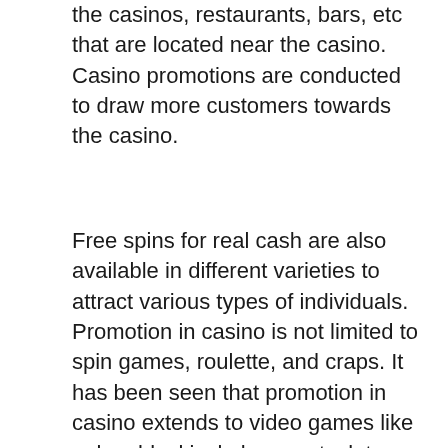the casinos, restaurants, bars, etc that are located near the casino. Casino promotions are conducted to draw more customers towards the casino.
Free spins for real cash are also available in different varieties to attract various types of individuals. Promotion in casino is not limited to spin games, roulette, and craps. It has been seen that promotion in casino extends to video games like poker, blackjack, baccarat, slot machines, keno, and more.
[Figure (photo): A dark atmospheric photo showing colorful casino chips (pink, blue/dark, green, and black) floating or falling against a dark background with blurred orange and blue light effects.]